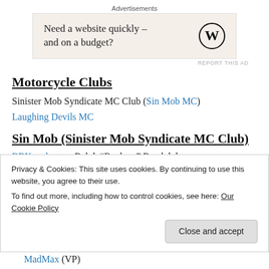[Figure (other): Advertisement banner with text 'Need a website quickly – and on a budget?' and WordPress logo on beige background]
Motorcycle Clubs
Sinister Mob Syndicate MC Club (Sin Mob MC)
Laughing Devils MC
Sin Mob (Sinister Mob Syndicate MC Club)
RRKnockout – Ralph "Rockem" Randolph
Bubba
Grizz
Privacy & Cookies: This site uses cookies. By continuing to use this website, you agree to their use. To find out more, including how to control cookies, see here: Our Cookie Policy
MadMax (VP)